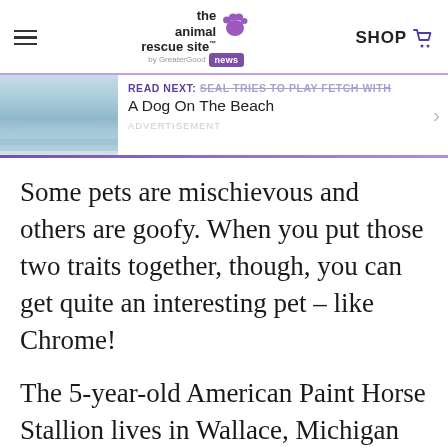the animal rescue site GreaterGood news | SHOP
[Figure (screenshot): Beach/ocean water thumbnail image for read next article]
READ NEXT: Seal Tries To Play Fetch With A Dog On The Beach
Some pets are mischievous and others are goofy. When you put those two traits together, though, you can get quite an interesting pet – like Chrome!
The 5-year-old American Paint Horse Stallion lives in Wallace, Michigan and it seems that he's always getting into something or other.